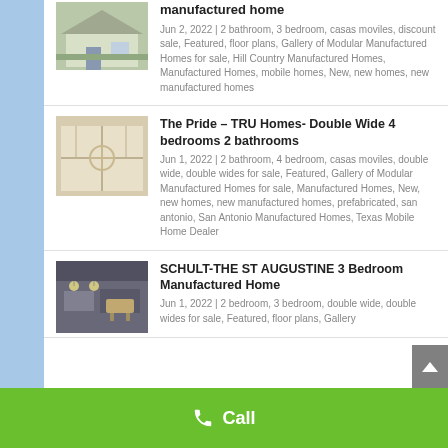manufactured home
Jun 2, 2022 | 2 bathroom, 3 bedroom, casas moviles, discount sale, Featured, floor plans, Gallery of Modular Manufactured Homes for sale, Hill Country Manufactured Homes, Manufactured Homes, mobile homes, New, new homes, new manufactured homes
The Pride – TRU Homes- Double Wide 4 bedrooms 2 bathrooms
Jun 1, 2022 | 2 bathroom, 4 bedroom, casas moviles, double wide, double wides for sale, Featured, Gallery of Modular Manufactured Homes for sale, Manufactured Homes, New, new homes, new manufactured homes, prefabricated, san antonio, San Antonio Manufactured Homes, Texas Mobile Home Dealer
SCHULT-THE ST AUGUSTINE 3 Bedroom Manufactured Home
Jun 1, 2022 | 2 bedroom, 3 bedroom, double wide, double wides for sale, Featured, floor plans, Gallery
Call